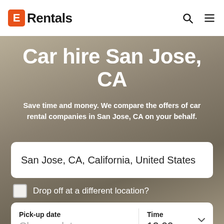ERentals
Car hire San Jose, CA
Save time and money. We compare the offers of car rental companies in San Jose, CA on your behalf.
San Jose, CA, California, United States
Drop off at a different location?
Pick-up date
Choose date
Time
12:00
Drop-off date
Choose date
Time
09:00